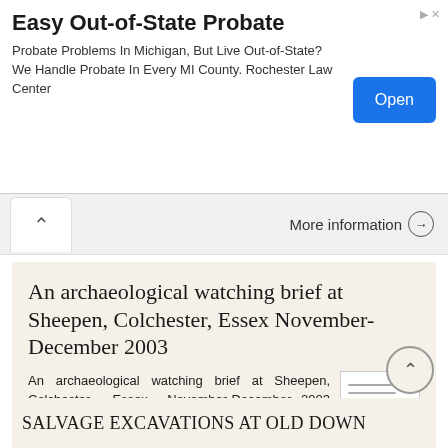Easy Out-of-State Probate
Probate Problems In Michigan, But Live Out-of-State? We Handle Probate In Every MI County. Rochester Law Center
More information →
An archaeological watching brief at Sheepen, Colchester, Essex November-December 2003
An archaeological watching brief at Sheepen, Colchester, Essex November-December 2003 report prepared by Ben Holloway on behalf of Colchester Borough Council CAT project ref.: 03/11c Colchester Museums
More information →
SALVAGE EXCAVATIONS AT OLD DOWN